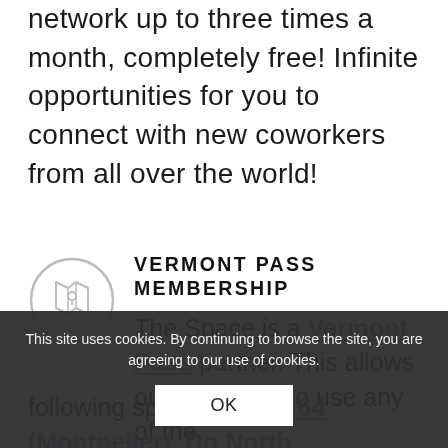network up to three times a month, completely free! Infinite opportunities for you to connect with new coworkers from all over the world!
[Figure (illustration): Circular icon with a map/location pin illustration in light gray]
VERMONT PASS MEMBERSHIP
The Space is a Vermont Pass partner. This allows our members to use any of the following spaces: Local 64 (Montpelier), Do North (Lyndonville), and Arnold Block (Bethel) — give us a heads up before you travel...
This site uses cookies. By continuing to browse the site, you are agreeing to our use of cookies.